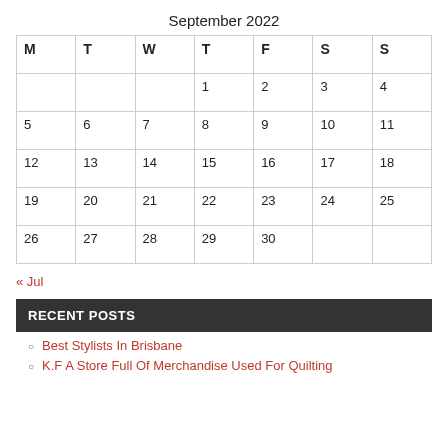September 2022
| M | T | W | T | F | S | S |
| --- | --- | --- | --- | --- | --- | --- |
|  |  |  | 1 | 2 | 3 | 4 |
| 5 | 6 | 7 | 8 | 9 | 10 | 11 |
| 12 | 13 | 14 | 15 | 16 | 17 | 18 |
| 19 | 20 | 21 | 22 | 23 | 24 | 25 |
| 26 | 27 | 28 | 29 | 30 |  |  |
« Jul
RECENT POSTS
Best Stylists In Brisbane
K.F A Store Full Of Merchandise Used For Quilting